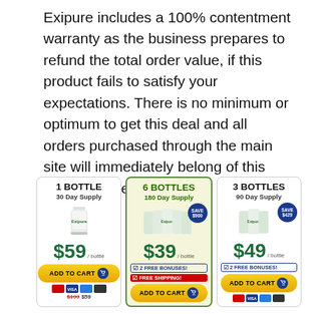Exipure includes a 100% contentment warranty as the business prepares to refund the total order value, if this product fails to satisfy your expectations. There is no minimum or optimum to get this deal and all orders purchased through the main site will immediately belong of this reimbursement policy.
[Figure (infographic): Three product pricing boxes for Exipure supplement: 1 Bottle 30 Day Supply at $59/bottle with Add to Cart button; 6 Bottles 180 Day Supply at $39/bottle with Save $900 badge, 2 Free Bonuses, Free Shipping, Add to Cart button (highlighted green border, yellow background); 3 Bottles 90 Day Supply at $49/bottle with Save $429 badge, 2 Free Bonuses, Add to Cart button.]